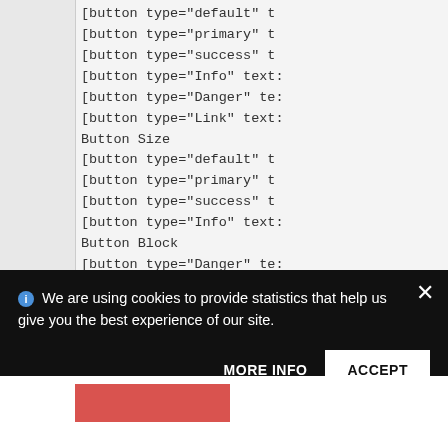[button type="default" t
[button type="primary" t
[button type="success" t
[button type="Info" text:
[button type="Danger" te:
[button type="Link" text:
Button Size
[button type="default" t
[button type="primary" t
[button type="success" t
[button type="Info" text:
Button Block
[button type="Danger" te:
Button Link
[button type="default" t
We are using cookies to provide statistics that help us give you the best experience of our site.
MORE INFO
ACCEPT